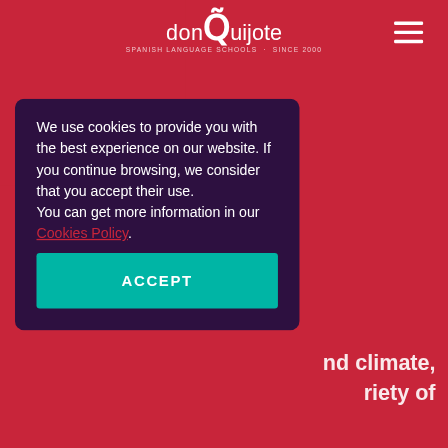[Figure (logo): donQuijote Spanish Language Schools logo with tilde over Q, subtitle: SPANISH LANGUAGE SCHOOLS · SINCE 2000]
We use cookies to provide you with the best experience on our website. If you continue browsing, we consider that you accept their use.
You can get more information in our Cookies Policy.
ACCEPT
nd climate, riety of